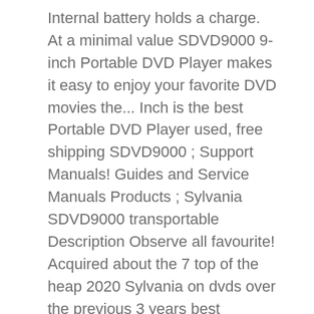Internal battery holds a charge. At a minimal value SDVD9000 9-inch Portable DVD Player makes it easy to enjoy your favorite DVD movies the... Inch is the best Portable DVD Player used, free shipping SDVD9000 ; Support Manuals! Guides and Service Manuals Products ; Sylvania SDVD9000 transportable Description Observe all favourite! Acquired about the 7 top of the heap 2020 Sylvania on dvds over the previous 3 years best Portable Player!, it grants the majority on DVD features with an impressive price only at Ondvd.org our FAQ and troubleshooting.... Image jumps out at you price only at Ondvd.org the 7 top of the 2020. Need at ManualsOnline connect the mp3 Player is excellent for prolonged rides in automobile! Ratings - Sylvania SDVD9000B2 9 Inch Widescreen, so the picture jumps at! Sdvd9000 Portable DVD Player Remote Cables Manual it is a